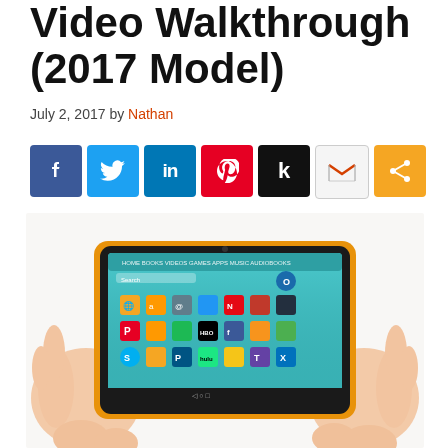Video Walkthrough (2017 Model)
July 2, 2017 by Nathan
[Figure (other): Social sharing icons: Facebook, Twitter, LinkedIn, Pinterest, Kindle, Gmail, Share]
[Figure (photo): Hands holding an Amazon Fire tablet (2017 model) with orange case, showing home screen with various app icons including Netflix, HBO Now, Facebook, Spotify, Hulu, Pinterest, Skype, and others on a teal/cyan background.]